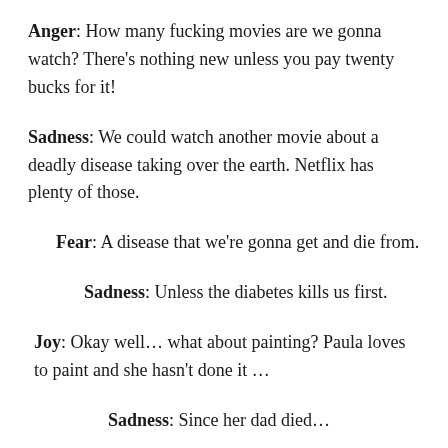Anger: How many fucking movies are we gonna watch? There's nothing new unless you pay twenty bucks for it!
Sadness: We could watch another movie about a deadly disease taking over the earth. Netflix has plenty of those.
Fear: A disease that we're gonna get and die from.
Sadness: Unless the diabetes kills us first.
Joy: Okay well… what about painting? Paula loves to paint and she hasn't done it …
Sadness: Since her dad died…